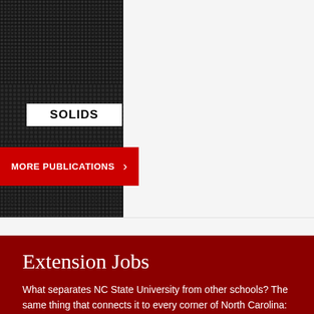[Figure (photo): Black and white halftone book cover image with the text 'SOLIDS' in a white label overlay]
MORE PUBLICATIONS >
Extension Jobs
What separates NC State University from other schools? The same thing that connects it to every corner of North Carolina: NC State Extension. Working hand in hand with our partners at N.C. A&T and 101